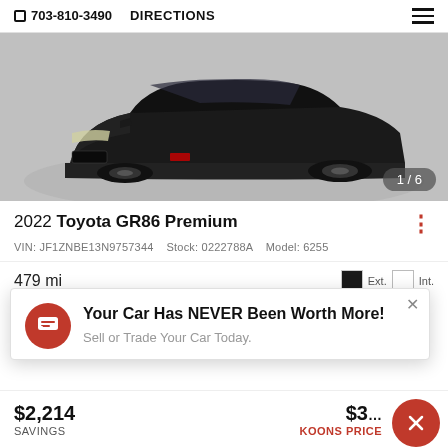703-810-3490  DIRECTIONS
[Figure (photo): Black Toyota GR86 sports car photographed from front-left angle on gray background, image counter showing 1/6]
2022 Toyota GR86 Premium
VIN: JF1ZNBE13N9757344  Stock: 0222788A  Model: 6255
479 mi  Ext.  Int.
Your Car Has NEVER Been Worth More!
Sell or Trade Your Car Today.
$2,214
SAVINGS
$3X KOONS PRICE